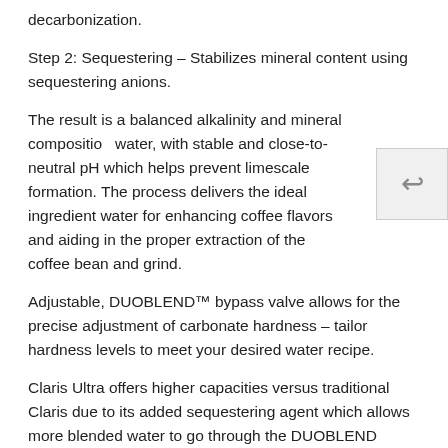decarbonization.
Step 2: Sequestering – Stabilizes mineral content using sequestering anions.
The result is a balanced alkalinity and mineral composition water, with stable and close-to-neutral pH which helps prevent limescale formation. The process delivers the ideal ingredient water for enhancing coffee flavors and aiding in the proper extraction of the coffee bean and grind.
Adjustable, DUOBLEND™ bypass valve allows for the precise adjustment of carbonate hardness – tailor hardness levels to meet your desired water recipe.
Claris Ultra offers higher capacities versus traditional Claris due to its added sequestering agent which allows more blended water to go through the DUOBLEND bypass, putting less stress on the resin thus slowing its exhaustion.